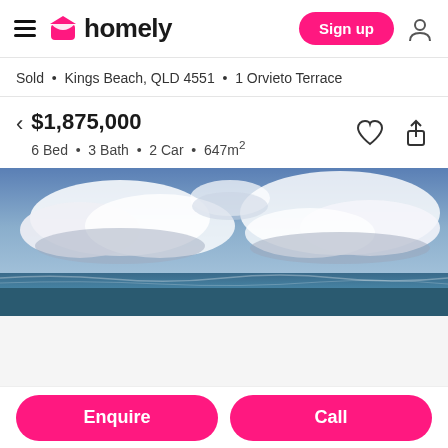homely — Sign up
Sold • Kings Beach, QLD 4551 • 1 Orvieto Terrace
$1,875,000
6 Bed • 3 Bath • 2 Car • 647m²
[Figure (photo): Aerial/wide panoramic photo of a beach with dramatic cloudy blue sky, ocean water visible at horizon, taken from elevation]
Enquire
Call